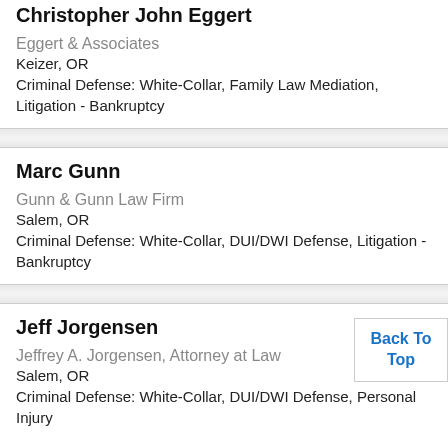Christopher John Eggert
Eggert & Associates
Keizer, OR
Criminal Defense: White-Collar, Family Law Mediation, Litigation - Bankruptcy
Marc Gunn
Gunn & Gunn Law Firm
Salem, OR
Criminal Defense: White-Collar, DUI/DWI Defense, Litigation - Bankruptcy
Jeff Jorgensen
Jeffrey A. Jorgensen, Attorney at Law
Salem, OR
Criminal Defense: White-Collar, DUI/DWI Defense, Personal Injury